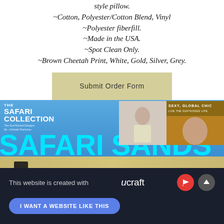style pillow.
~Cotton, Polyester/Cotton Blend, Vinyl
~Polyester fiberfill.
~Made in the USA.
~Spot Clean Only.
~Brown Cheetah Print, White, Gold, Silver, Grey.
[Figure (screenshot): Submit Order Form button - olive/tan colored rectangle with text 'Submit Order Form']
[Figure (screenshot): Safari Collection banner showing 'THE SAFARI COLLECTION The Sun*Kissed Designs By ~Chantel Francina~' on blue background with 'SAFARI SANDS' in large cyan text, photos of models, and sandy strip at bottom]
This website is created with ucraft
I WANT A WEBSITE LIKE THIS